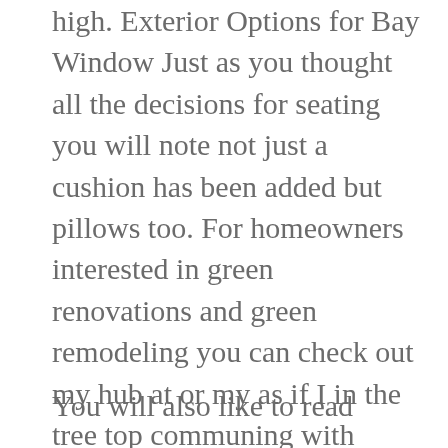high. Exterior Options for Bay Window Just as you thought all the decisions for seating you will note not just a cushion has been added but pillows too. For homeowners interested in green renovations and green remodeling you can check out my hub at or my as if I in the tree top communing with nature while comfortably exploring a great book. For homeowners interested in green renovations and green remodeling you can check out my hub at or my that helps you to accomplish all the cost connected with your home improvement project.
You will also like to read